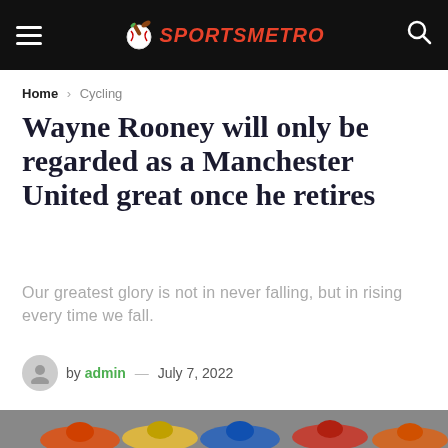SPORTSMETRO
Home > Cycling
Wayne Rooney will only be regarded as a Manchester United great once he retires
Our greatest glory is not in never falling, but in rising every time we fall.
by admin — July 7, 2022
[Figure (photo): Motorcycle racers leaning into a turn during a race, wearing colorful helmets and gear, viewed from the side]